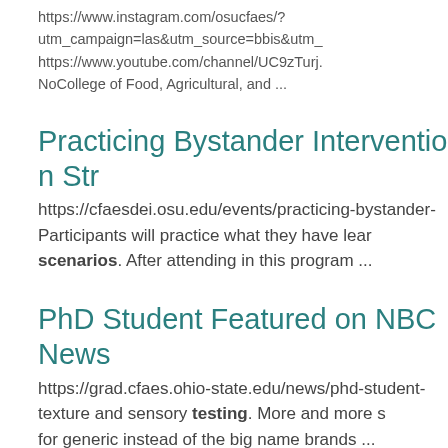https://www.instagram.com/osucfaes/?utm_campaign=las&utm_source=bbis&utm_
https://www.youtube.com/channel/UC9zTurj.
NoCollege of Food, Agricultural, and ...
Practicing Bystander Intervention Str
https://cfaesdei.osu.edu/events/practicing-bystander-
Participants will practice what they have lear scenarios. After attending in this program ...
PhD Student Featured on NBC News
https://grad.cfaes.ohio-state.edu/news/phd-student-
texture and sensory testing. More and more s
for generic instead of the big name brands ...
#MorningNewsNOW https://t.co/l4lI7MIn